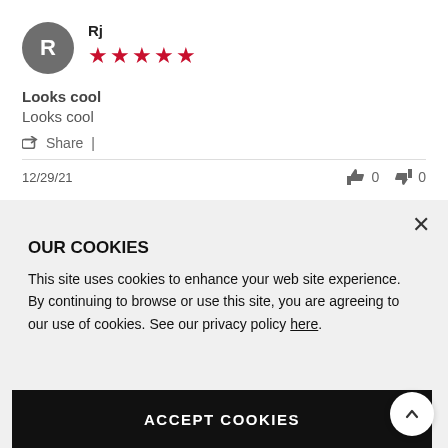Rj — 5 stars
Looks cool
Looks cool
Share |
12/29/21   👍 0   👎 0
OUR COOKIES
This site uses cookies to enhance your web site experience. By continuing to browse or use this site, you are agreeing to our use of cookies. See our privacy policy here.
ACCEPT COOKIES